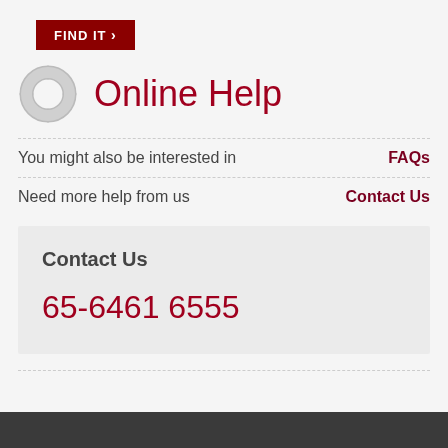[Figure (other): Red button with text FIND IT and right arrow]
Online Help
You might also be interested in
FAQs
Need more help from us
Contact Us
Contact Us
65-6461 6555